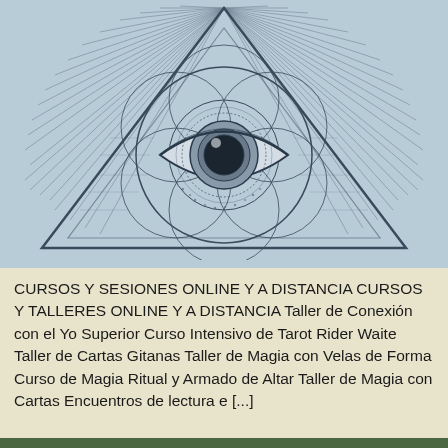[Figure (illustration): All-seeing eye / Eye of Providence illustration: a triangle with rays emanating outward, geometric circles and patterns inside, with a detailed eye at the center featuring a yin-yang style pupil, on a light blue background]
CURSOS Y SESIONES ONLINE Y A DISTANCIA CURSOS Y TALLERES ONLINE Y A DISTANCIA Taller de Conexión con el Yo Superior Curso Intensivo de Tarot Rider Waite Taller de Cartas Gitanas Taller de Magia con Velas de Forma Curso de Magia Ritual y Armado de Altar Taller de Magia con Cartas Encuentros de lectura e [...]